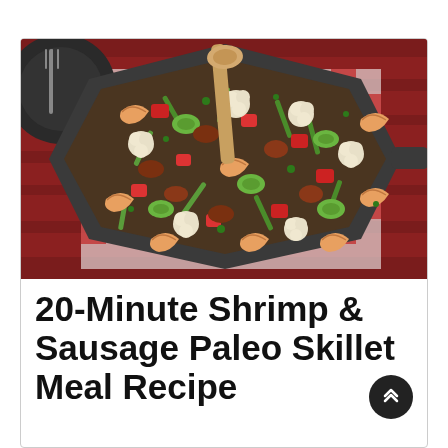[Figure (photo): Overhead view of a cast iron skillet filled with shrimp, sausage, green beans, red bell peppers, zucchini, and cauliflower, with a wooden spoon, set on a red and white checkered cloth on a red wooden table. A black plate with fork is visible at upper left.]
20-Minute Shrimp & Sausage Paleo Skillet Meal Recipe